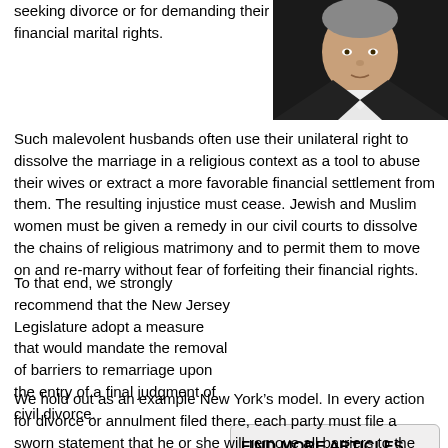seeking divorce or for demanding their financial marital rights.
[Figure (photo): Portrait photo of a man in a dark suit with white shirt]
Such malevolent husbands often use their unilateral right to dissolve the marriage in a religious context as a tool to abuse their wives or extract a more favorable financial settlement from them. The resulting injustice must cease. Jewish and Muslim women must be given a remedy in our civil courts to dissolve the chains of religious matrimony and to permit them to move on and re-marry without fear of forfeiting their financial rights.
To that end, we strongly recommend that the New Jersey Legislature adopt a measure that would mandate the removal of barriers to remarriage upon the entry of a final judgment of civil divorce.
FIND MORE ARTICLES
We hold out as an example New York’s model. In every action for divorce or annulment filed there, each party must file a sworn statement that he or she will remove all barriers to the other’s remarriage. If either party fails to do so, the other spouse can petition the court to seek enforcement. The New York statute is gender- and religion-neutral and has withstood several